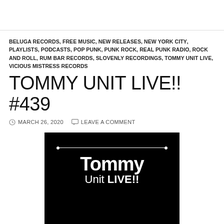BELUGA RECORDS, FREE MUSIC, NEW RELEASES, NEW YORK CITY, PLAYLISTS, PODCASTS, POP PUNK, PUNK ROCK, REAL PUNK RADIO, ROCK AND ROLL, RUM BAR RECORDS, SLOVENLY RECORDINGS, TOMMY UNIT LIVE, VICIOUS MISTRESS RECORDS
TOMMY UNIT LIVE!! #439
MARCH 26, 2020   LEAVE A COMMENT
[Figure (photo): Black background image showing 'Tommy Unit LIVE!!' text logo with decorative white horizontal line with dots on either end]